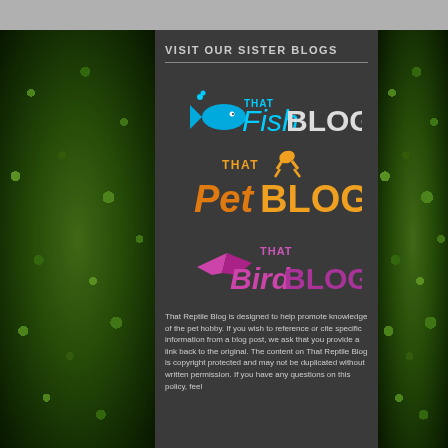VISIT OUR SISTER BLOGS
[Figure (logo): That Fish Blog logo — fish icon with 'THAT Fish BLOG' text in cyan/white]
[Figure (logo): That Pet Blog logo — jumping animal icon with 'THAT Pet BLOG' text in orange]
[Figure (logo): That Bird Blog logo — bird icon with 'THAT Bird BLOG' text in purple/magenta]
That Reptile Blog is designed to help promote knowledge of the pet hobby. If you wish to reference or cite specific information from a blog post, we ask that you provide a link back to the original. The content on That Reptile Blog is copyright protected and may not be duplicated without written permission. If you have any questions on this policy, feel